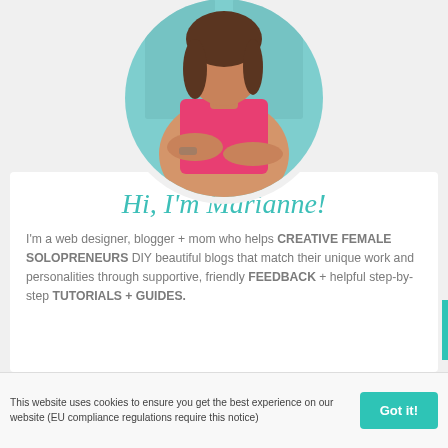[Figure (photo): Circular profile photo of a woman (Marianne) in a pink top with arms crossed, standing in front of a teal/mint door background]
Hi, I'm Marianne!
I'm a web designer, blogger + mom who helps CREATIVE FEMALE SOLOPRENEURS DIY beautiful blogs that match their unique work and personalities through supportive, friendly FEEDBACK + helpful step-by-step TUTORIALS + GUIDES.
This website uses cookies to ensure you get the best experience on our website (EU compliance regulations require this notice)